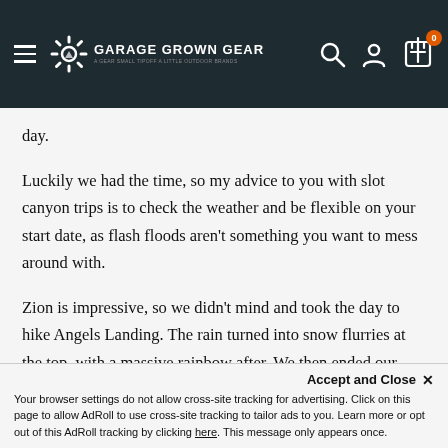Garage Grown Gear — site header with navigation
day.
Luckily we had the time, so my advice to you with slot canyon trips is to check the weather and be flexible on your start date, as flash floods aren't something you want to mess around with.
Zion is impressive, so we didn't mind and took the day to hike Angels Landing. The rain turned into snow flurries at the top, with a massive rainbow after. We then ended our Thanksgiving Day in a bar watching football and eating buffalo wings.
Accept and Close ✕ Your browser settings do not allow cross-site tracking for advertising. Click on this page to allow AdRoll to use cross-site tracking to tailor ads to you. Learn more or opt out of this AdRoll tracking by clicking here. This message only appears once.